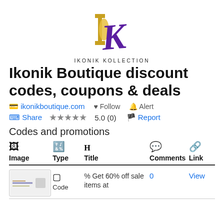[Figure (logo): Ikonik Kollection logo: purple and gold stylized IK letters]
IKONIK KOLLECTION
Ikonik Boutique discount codes, coupons & deals
ikonikboutique.com   Follow   Alert
Share   ★★★★★ 5.0 (0)   Report
Codes and promotions
| Image | Type | Title | Comments | Link |
| --- | --- | --- | --- | --- |
| [thumbnail] | Code | % Get 60% off sale items at | 0 | View |